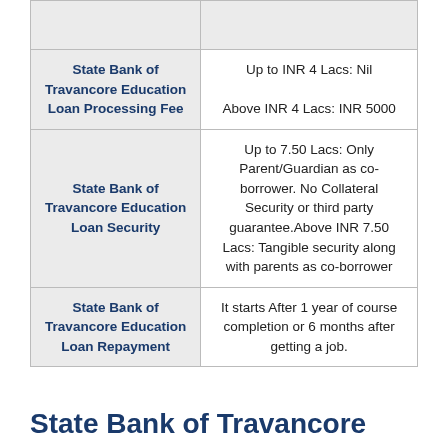|  |  |
| --- | --- |
| State Bank of Travancore Education Loan Processing Fee | Up to INR 4 Lacs: Nil

Above INR 4 Lacs: INR 5000 |
| State Bank of Travancore Education Loan Security | Up to 7.50 Lacs: Only Parent/Guardian as co-borrower. No Collateral Security or third party guarantee.Above INR 7.50 Lacs: Tangible security along with parents as co-borrower |
| State Bank of Travancore Education Loan Repayment | It starts After 1 year of course completion or 6 months after getting a job. |
State Bank of Travancore